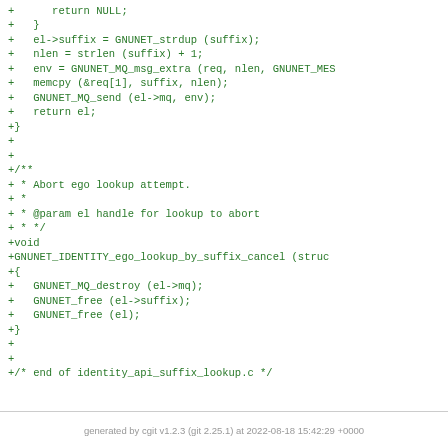+      return NULL;
+   }
+   el->suffix = GNUNET_strdup (suffix);
+   nlen = strlen (suffix) + 1;
+   env = GNUNET_MQ_msg_extra (req, nlen, GNUNET_MES
+   memcpy (&req[1], suffix, nlen);
+   GNUNET_MQ_send (el->mq, env);
+   return el;
+}
+
+
+/**
+ * Abort ego lookup attempt.
+ *
+ * @param el handle for lookup to abort
+ * */
+void
+GNUNET_IDENTITY_ego_lookup_by_suffix_cancel (struc
+{
+   GNUNET_MQ_destroy (el->mq);
+   GNUNET_free (el->suffix);
+   GNUNET_free (el);
+}
+
+
+/* end of identity_api_suffix_lookup.c */
generated by cgit v1.2.3 (git 2.25.1) at 2022-08-18 15:42:29 +0000